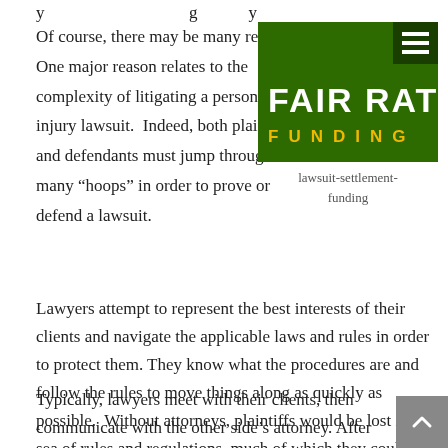y                              g         y
Of course, there may be many reasons.  One major reason relates to the complexity of litigating a personal injury lawsuit.  Indeed, both plaintiffs and defendants must jump through many “hoops” in order to prove or defend a lawsuit.
[Figure (logo): Fair Rate Funding logo — green background with white text FAIR RATE and yellow text FUNDING below, with a hamburger menu icon top right]
lawsuit-settlement-funding
Lawyers attempt to represent the best interests of their clients and navigate the applicable laws and rules in order to protect them. They know what the procedures are and follow the rules to move things along as quickly as possible.  Without attorneys, plaintiffs would be lost in a sea of rules and regulations, much of which they could not possibly understand without proper training.
Typically, lawyers meet with their clients, then communicate with the other side’s attorney. After investigation, the lawyer and